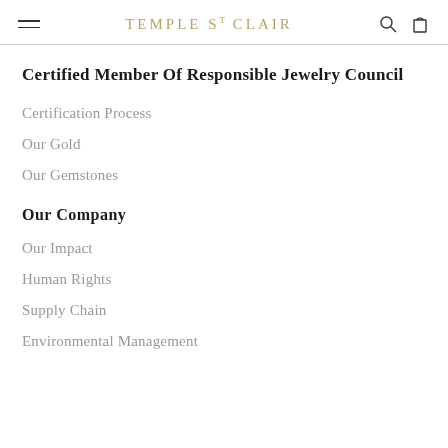TEMPLE ST CLAIR
Certified Member Of Responsible Jewelry Council
Certification Process
Our Gold
Our Gemstones
Our Company
Our Impact
Human Rights
Supply Chain
Environmental Management